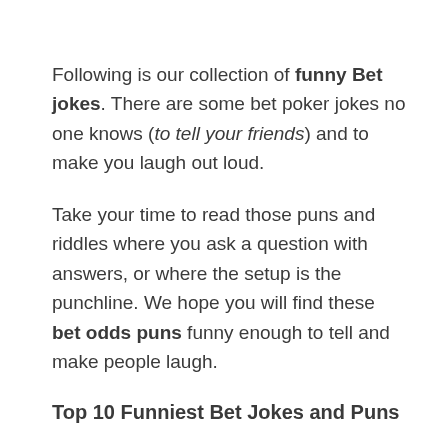Following is our collection of funny Bet jokes. There are some bet poker jokes no one knows (to tell your friends) and to make you laugh out loud.
Take your time to read those puns and riddles where you ask a question with answers, or where the setup is the punchline. We hope you will find these bet odds puns funny enough to tell and make people laugh.
Top 10 Funniest Bet Jokes and Puns